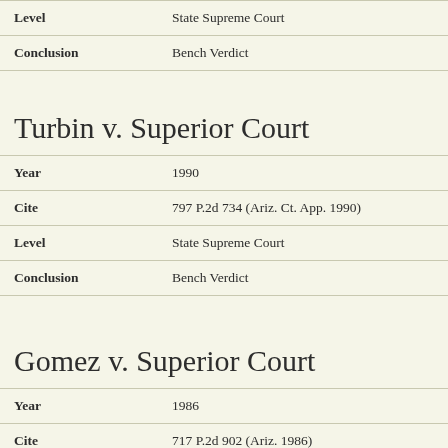| Level | State Supreme Court |
| Conclusion | Bench Verdict |
Turbin v. Superior Court
| Year | 1990 |
| Cite | 797 P.2d 734 (Ariz. Ct. App. 1990) |
| Level | State Supreme Court |
| Conclusion | Bench Verdict |
Gomez v. Superior Court
| Year | 1986 |
| Cite | 717 P.2d 902 (Ariz. 1986) |